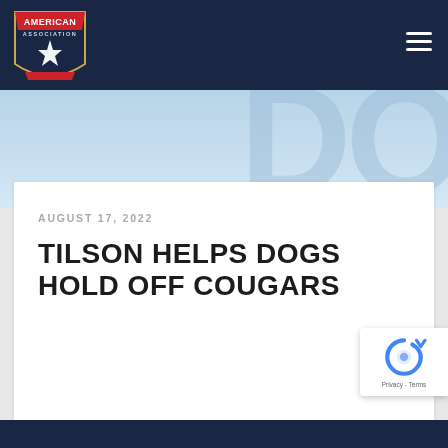[Figure (logo): American Association baseball league logo — shield shape with red top band reading AMERICAN, dark blue body with a star graphic]
AUGUST 17, 2022
TILSON HELPS DOGS HOLD OFF COUGARS
[Figure (logo): Google reCAPTCHA badge with recycling-arrow icon and Privacy - Terms text]